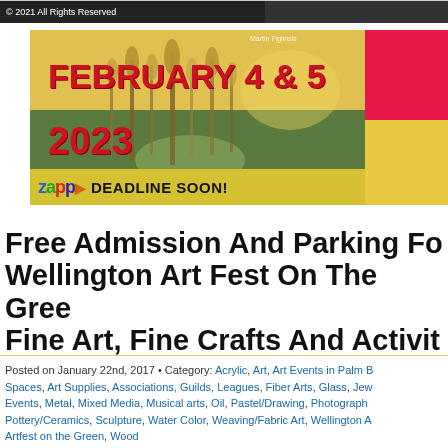© 2021 All Rights Reserved
[Figure (illustration): Art festival banner showing a landscape painting background with text 'FEBRUARY 4 & 5 2023' in bold red, ZAPP logo, and 'DEADLINE SOON!' text. Photographer credit: Martin Figlinski. Red and yellow sections on right side.]
Free Admission And Parking Fo... Wellington Art Fest On The Gree... Fine Art, Fine Crafts And Activit...
Posted on January 22nd, 2017 • Category: Acrylic, Art, Art Events in Palm B... Spaces, Art Supplies, Associations, Guilds, Leagues, Fiber Arts, Glass, Jew... Events, Metal, Mixed Media, Musical arts, Oil, Pastel/Drawing, Photograph... Pottery/Ceramics, Sculpture, Water Color, Weaving/Fabric Art, Wellington A... Artfest on the Green, Wood